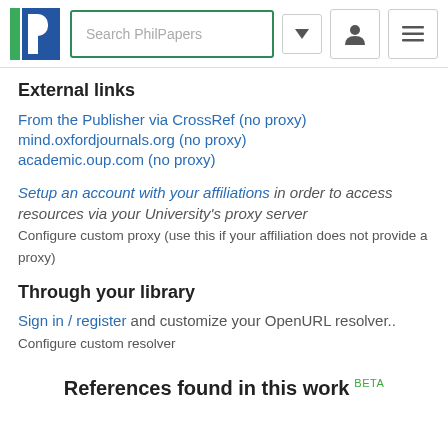Search PhilPapers
External links
From the Publisher via CrossRef (no proxy)
mind.oxfordjournals.org (no proxy)
academic.oup.com (no proxy)
Setup an account with your affiliations in order to access resources via your University's proxy server
Configure custom proxy (use this if your affiliation does not provide a proxy)
Through your library
Sign in / register and customize your OpenURL resolver..
Configure custom resolver
References found in this work BETA